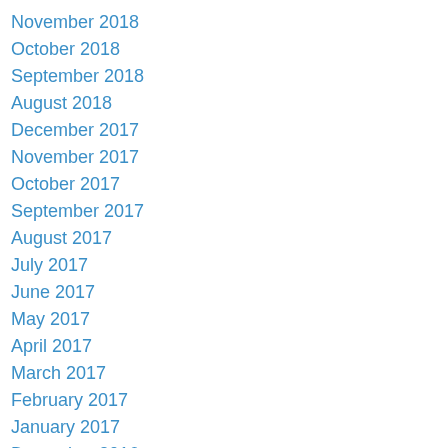November 2018
October 2018
September 2018
August 2018
December 2017
November 2017
October 2017
September 2017
August 2017
July 2017
June 2017
May 2017
April 2017
March 2017
February 2017
January 2017
December 2016
November 2016